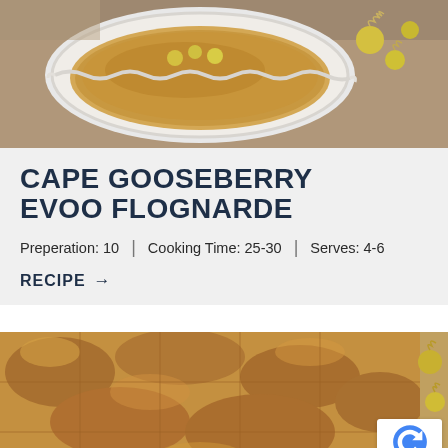[Figure (photo): Top-down photo of a white fluted baking dish with a golden custard dessert, with cape gooseberries (physalis) scattered around on a linen cloth background.]
CAPE GOOSEBERRY EVOO FLOGNARDE
Preperation: 10  |  Cooking Time: 25-30  |  Serves: 4-6
RECIPE →
[Figure (photo): Close-up photo of a baked golden-brown flognarde with a bumpy, caramelized top surface, with cape gooseberries visible around the edge. A reCAPTCHA badge is overlaid in the bottom-right corner.]